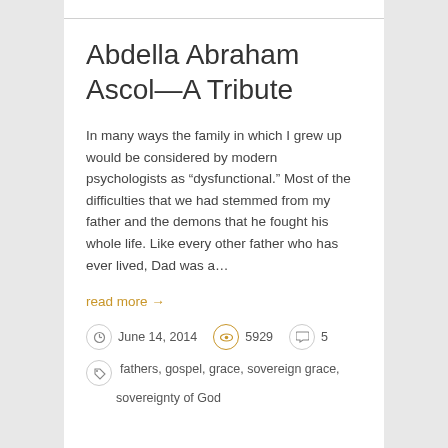Abdella Abraham Ascol—A Tribute
In many ways the family in which I grew up would be considered by modern psychologists as “dysfunctional.” Most of the difficulties that we had stemmed from my father and the demons that he fought his whole life. Like every other father who has ever lived, Dad was a…
read more →
June 14, 2014   5929   5
fathers, gospel, grace, sovereign grace, sovereignty of God